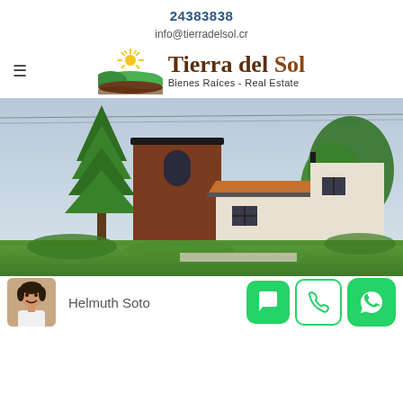24383838
info@tierradelsol.cr
[Figure (logo): Tierra del Sol Bienes Raíces - Real Estate logo with sun and hills graphic]
[Figure (photo): Exterior photo of a two-story residential house with brown and white stucco finish, red tile roof on lower section, arched window on upper level, tall pine tree on left, green lawn, cloudy sky]
[Figure (photo): Agent photo of Helmuth Soto, a man in white shirt]
Helmuth Soto